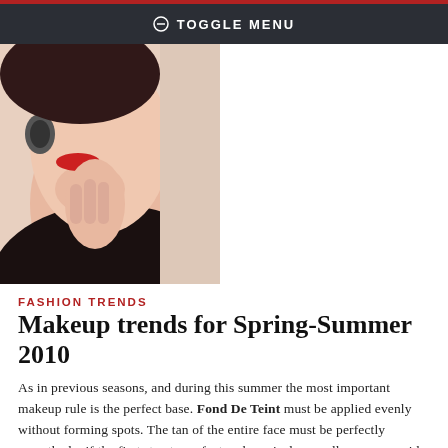TOGGLE MENU
[Figure (photo): Close-up photo of a woman with red lipstick touching her chin/neck, wearing a black outfit and earring]
FASHION TRENDS
Makeup trends for Spring-Summer 2010
As in previous seasons, and during this summer the most important makeup rule is the perfect base. Fond De Teint must be applied evenly without forming spots. The tan of the entire face must be perfectly smoothed – if the first step to perfect makeup is done well, we can avoid the heavy eye makeup, because this season trends will be all about natural makeup. Interesting in makeup for summer 2010 is the contrast not between the eyes and lips, but between eyes-eyebrows. The fashion trends make necessary the thick and dark eyebrows with a very bright and gentle eye makeup.
16 APRIL, 2010